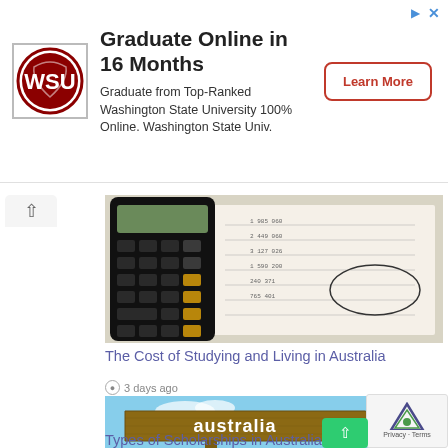[Figure (infographic): Advertisement banner for Washington State University online program with WSU logo, text 'Graduate Online in 16 Months', and a 'Learn More' button]
Graduate Online in 16 Months
Graduate from Top-Ranked Washington State University 100% Online. Washington State Univ.
[Figure (photo): Photo of a calculator and financial documents with handwritten numbers]
The Cost of Studying and Living in Australia
3 days ago
[Figure (photo): Photo of a wooden directional sign reading 'australia' against a blue sky, with 'Scholars' text overlay]
Types of Scholarships in Australia